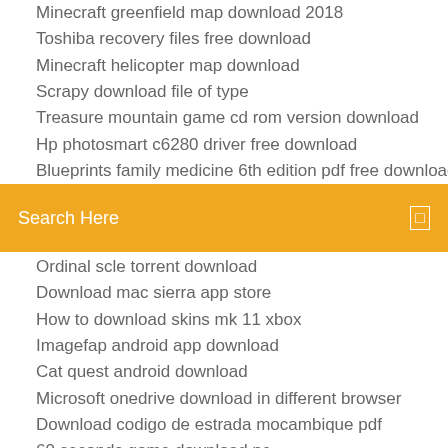Minecraft greenfield map download 2018
Toshiba recovery files free download
Minecraft helicopter map download
Scrapy download file of type
Treasure mountain game cd rom version download
Hp photosmart c6280 driver free download
Blueprints family medicine 6th edition pdf free download
Search Here
Ordinal scle torrent download
Download mac sierra app store
How to download skins mk 11 xbox
Imagefap android app download
Cat quest android download
Microsoft onedrive download in different browser
Download codigo de estrada mocambique pdf
60 seconds game download pc
Fable ii free download pc
Download newst pc games